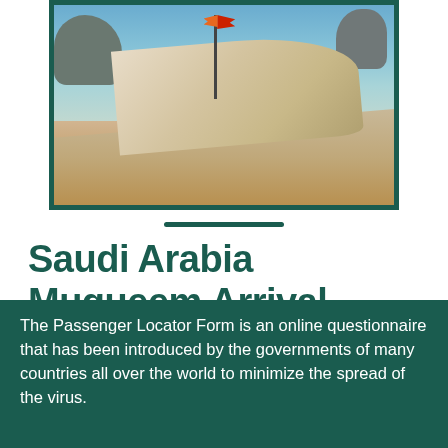[Figure (photo): A wooden longtail boat on a sandy beach with turquoise sea water and rocky islands in the background. Colorful flags on the boat pole. Tourism / travel scene.]
Saudi Arabia Muqueem Arrival Registration
The Passenger Locator Form is an online questionnaire that has been introduced by the governments of many countries all over the world to minimize the spread of the virus.